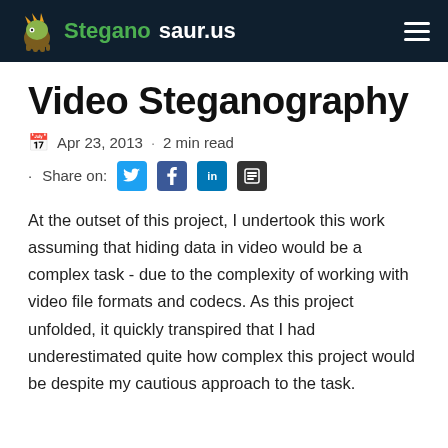Steganosaur.us
Video Steganography
Apr 23, 2013 · 2 min read
· Share on:
At the outset of this project, I undertook this work assuming that hiding data in video would be a complex task - due to the complexity of working with video file formats and codecs. As this project unfolded, it quickly transpired that I had underestimated quite how complex this project would be despite my cautious approach to the task.